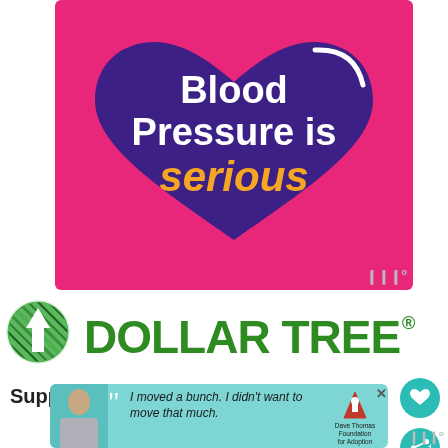[Figure (illustration): Pink background card with a large dark purple heart shape containing white bold text 'Blood Pressure is' and orange bold text 'serious'. A white arc/smile is in the upper right of the heart.]
[Figure (logo): Dollar Tree logo: green tree icon on left followed by 'DOLLAR TREE.' in large bold green letters with registered trademark symbol.]
Supplies
[Figure (illustration): Advertisement banner with teal background. Young man photo on left. Large quotation marks. Text: 'I moved a bunch. I didn't want to move that much.' Dave Thomas Foundation for Adoption logo on right. X close button top right.]